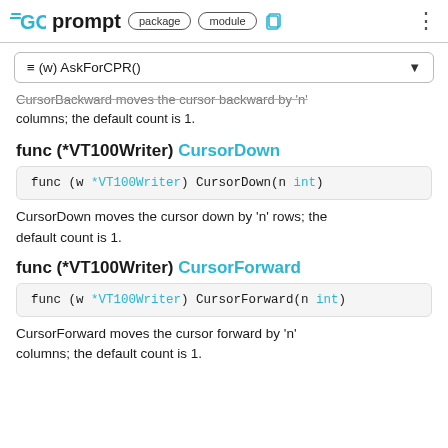GO prompt package module
≡ (w) AskForCPR()
CursorBackward moves the cursor backward by 'n' columns; the default count is 1.
func (*VT100Writer) CursorDown
func (w *VT100Writer) CursorDown(n int)
CursorDown moves the cursor down by 'n' rows; the default count is 1.
func (*VT100Writer) CursorForward
func (w *VT100Writer) CursorForward(n int)
CursorForward moves the cursor forward by 'n' columns; the default count is 1.